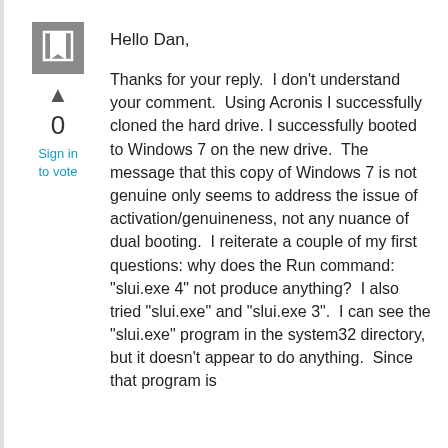[Figure (other): Comment/reply icon - gray square with white speech bubble containing a flag/bookmark symbol]
▲
0
Sign in
to vote
Hello Dan,
Thanks for your reply.  I don't understand your comment.  Using Acronis I successfully cloned the hard drive. I successfully booted to Windows 7 on the new drive.  The message that this copy of Windows 7 is not genuine only seems to address the issue of activation/genuineness, not any nuance of dual booting.  I reiterate a couple of my first questions: why does the Run command: "slui.exe 4" not produce anything?  I also tried "slui.exe" and "slui.exe 3".  I can see the "slui.exe" program in the system32 directory, but it doesn't appear to do anything.  Since that program is